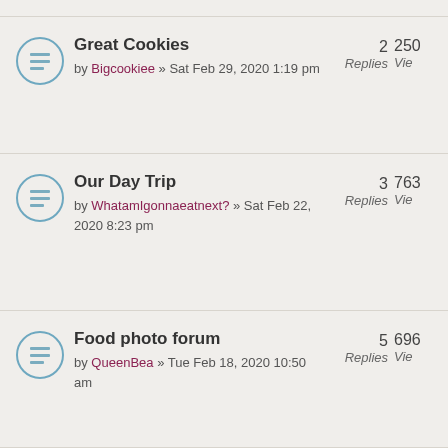Great Cookies by Bigcookiee » Sat Feb 29, 2020 1:19 pm | 2 Replies | 250 Views
Our Day Trip by WhatamIgonnaeatnext? » Sat Feb 22, 2020 8:23 pm | 3 Replies | 763 Views
Food photo forum by QueenBea » Tue Feb 18, 2020 10:50 am | 5 Replies | 696 Views